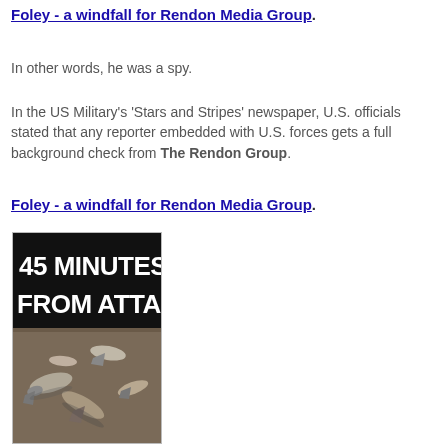Foley - a windfall for Rendon Media Group.
In other words, he was a spy.
In the US Military's 'Stars and Stripes' newspaper, U.S. officials stated that any reporter embedded with U.S. forces gets a full background check from The Rendon Group.
Foley - a windfall for Rendon Media Group.
[Figure (photo): Book or magazine cover with text '45 MINUTES FROM ATTACK' in large white bold font on black background, below which is a photograph of bombs or missiles arranged on the ground.]